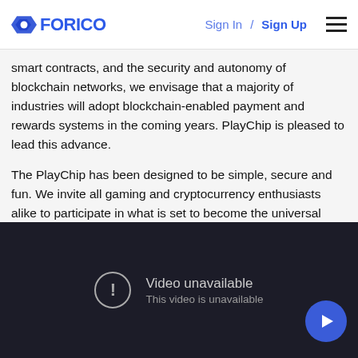FORICO  Sign In / Sign Up
smart contracts, and the security and autonomy of blockchain networks, we envisage that a majority of industries will adopt blockchain-enabled payment and rewards systems in the coming years. PlayChip is pleased to lead this advance.
The PlayChip has been designed to be simple, secure and fun. We invite all gaming and cryptocurrency enthusiasts alike to participate in what is set to become the universal gaming token.
PlayChip ICO Presentation
[Figure (screenshot): Video unavailable placeholder with dark background, exclamation circle icon, text 'Video unavailable / This video is unavailable', and a blue circular play button in the bottom right corner.]